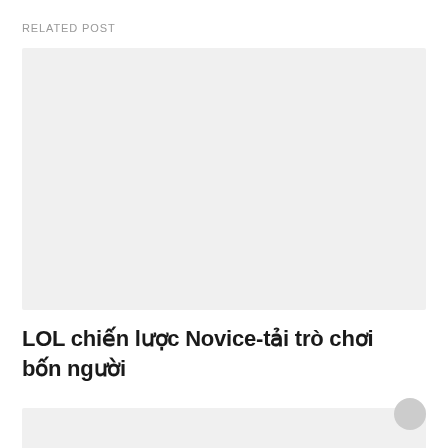RELATED POST
[Figure (photo): Large light gray placeholder image for related post thumbnail]
LOL chiến lược Novice-tải trò chơi bốn người
[Figure (photo): Small light gray placeholder image for second related post thumbnail, with a circular avatar element in the top-right corner]